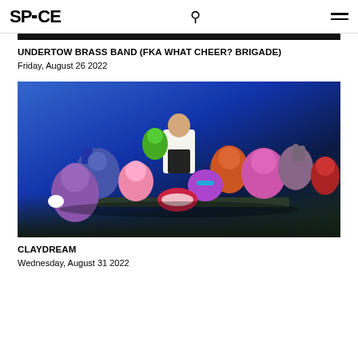SP_CE (SPACE logo with search and menu icons)
[Figure (photo): Dark top image strip / cropped photo showing a dark background]
UNDERTOW BRASS BAND (FKA WHAT CHEER? BRIGADE)
Friday, August 26 2022
[Figure (photo): Photo of a man in a white shirt surrounded by colorful clay/puppet characters against a blue background. The characters are whimsical, cartoonish figures in various bright colors including pink, blue, red, and green.]
CLAYDREAM
Wednesday, August 31 2022